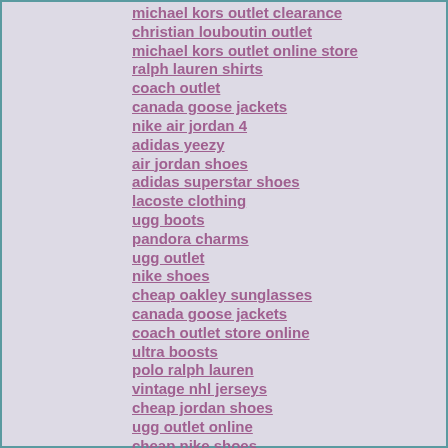michael kors outlet clearance
christian louboutin outlet
michael kors outlet online store
ralph lauren shirts
coach outlet
canada goose jackets
nike air jordan 4
adidas yeezy
air jordan shoes
adidas superstar shoes
lacoste clothing
ugg boots
pandora charms
ugg outlet
nike shoes
cheap oakley sunglasses
canada goose jackets
coach outlet store online
ultra boosts
polo ralph lauren
vintage nhl jerseys
cheap jordan shoes
ugg outlet online
cheap nike shoes
ray ban sunglasses outlet
coach outlet online
cheap snapbacks
nfl jerseys